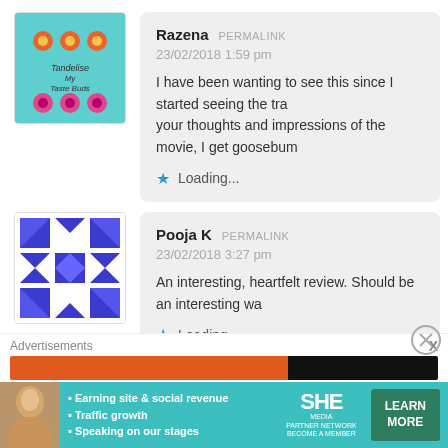[Figure (illustration): Avatar image for Razena - teal background with colorful circles and text 'Tandelise My Taste Buds']
Razena PERMALINK
23/02/2018 1:59 pm
I have been wanting to see this since I started seeing the tra... your thoughts and impressions of the movie, I get goosebum...
★ Loading...
[Figure (illustration): Avatar image for Pooja K - geometric blue and white pattern]
Pooja K PERMALINK
23/02/2018 3:27 pm
An interesting, heartfelt review. Should be an interesting wa...
★ Loading...
Advertisements X
[Figure (infographic): SHE Partner Network advertisement - teal background with woman photo, bullet points about earning site & social revenue, traffic growth, speaking on our stages, and LEARN MORE button]